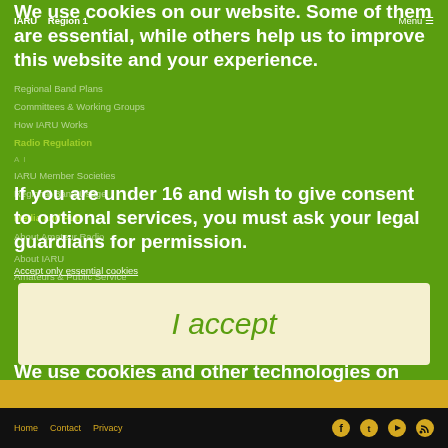IARU   Region 1   Menu ☰
We use cookies on our website. Some of them are essential, while others help us to improve this website and your experience.
If you are under 16 and wish to give consent to optional services, you must ask your legal guardians for permission.
We use cookies and other technologies on
Regional Band Plans
Committees & Working Groups
How IARU Works
Radio Regulation
IARU Member Societies
Regional Band Usage
Media and Publications
About Amateur Radio
About IARU
Amateurs & Public Service
Accept only essential cookies
I accept
Home   Contact   Privacy